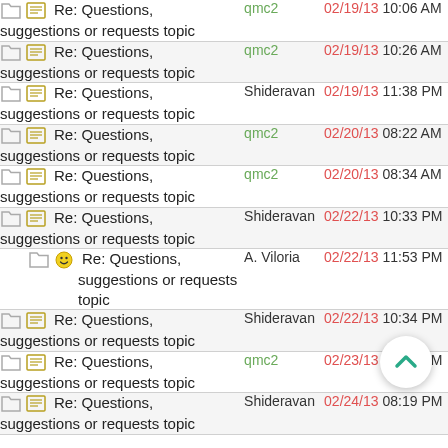Re: Questions, suggestions or requests topic | qmc2 | 02/19/13 10:06 AM
Re: Questions, suggestions or requests topic | qmc2 | 02/19/13 10:26 AM
Re: Questions, suggestions or requests topic | Shideravan | 02/19/13 11:38 PM
Re: Questions, suggestions or requests topic | qmc2 | 02/20/13 08:22 AM
Re: Questions, suggestions or requests topic | qmc2 | 02/20/13 08:34 AM
Re: Questions, suggestions or requests topic | Shideravan | 02/22/13 10:33 PM
Re: Questions, suggestions or requests topic | A. Viloria | 02/22/13 11:53 PM
Re: Questions, suggestions or requests topic | Shideravan | 02/22/13 10:34 PM
Re: Questions, suggestions or requests topic | qmc2 | 02/23/13 12:28 PM
Re: Questions, suggestions or requests topic | Shideravan | 02/24/13 08:19 PM